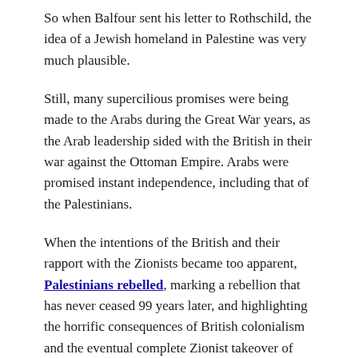So when Balfour sent his letter to Rothschild, the idea of a Jewish homeland in Palestine was very much plausible.
Still, many supercilious promises were being made to the Arabs during the Great War years, as the Arab leadership sided with the British in their war against the Ottoman Empire. Arabs were promised instant independence, including that of the Palestinians.
When the intentions of the British and their rapport with the Zionists became too apparent, Palestinians rebelled, marking a rebellion that has never ceased 99 years later, and highlighting the horrific consequences of British colonialism and the eventual complete Zionist takeover of Palestine which is still felt after all of these years.